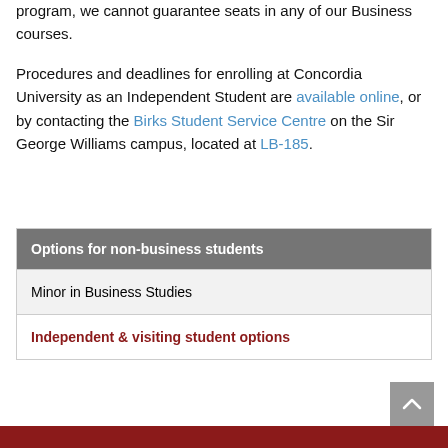program, we cannot guarantee seats in any of our Business courses.
Procedures and deadlines for enrolling at Concordia University as an Independent Student are available online, or by contacting the Birks Student Service Centre on the Sir George Williams campus, located at LB-185.
| Options for non-business students |
| --- |
| Minor in Business Studies |
| Independent & visiting student options |